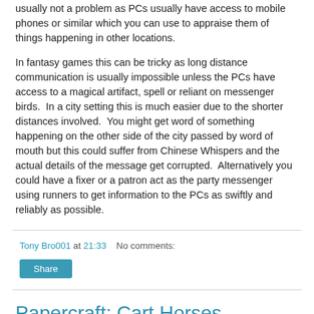usually not a problem as PCs usually have access to mobile phones or similar which you can use to appraise them of things happening in other locations.
In fantasy games this can be tricky as long distance communication is usually impossible unless the PCs have access to a magical artifact, spell or reliant on messenger birds.  In a city setting this is much easier due to the shorter distances involved.  You might get word of something happening on the other side of the city passed by word of mouth but this could suffer from Chinese Whispers and the actual details of the message get corrupted.  Alternatively you could have a fixer or a patron act as the party messenger using runners to get information to the PCs as swiftly and reliably as possible.
Tony Bro001 at 21:33    No comments:
Share
Papercraft: Cart Horses